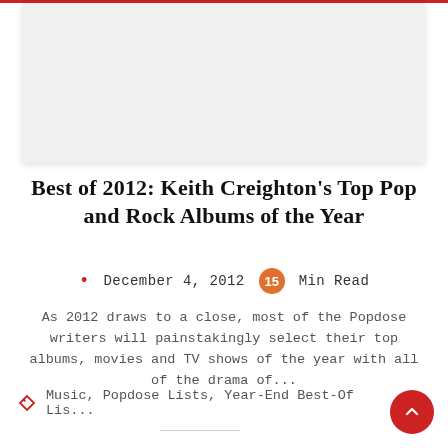[Figure (photo): Gray placeholder image area at top of page]
Best of 2012: Keith Creighton's Top Pop and Rock Albums of the Year
• December 4, 2012  15 Min Read
As 2012 draws to a close, most of the Popdose writers will painstakingly select their top albums, movies and TV shows of the year with all of the drama of...
Music, Popdose Lists, Year-End Best-Of Lis...